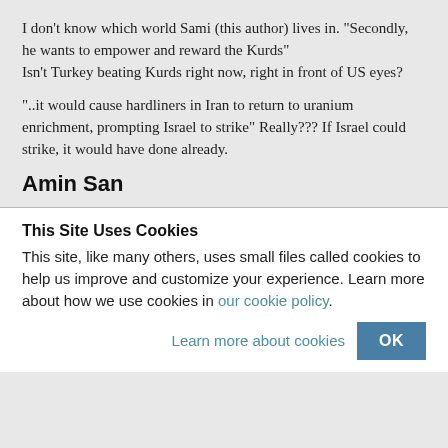I don't know which world Sami (this author) lives in. "Secondly, he wants to empower and reward the Kurds" Isn't Turkey beating Kurds right now, right in front of US eyes?
"..it would cause hardliners in Iran to return to uranium enrichment, prompting Israel to strike" Really??? If Israel could strike, it would have done already.
Amin San
This Site Uses Cookies
This site, like many others, uses small files called cookies to help us improve and customize your experience. Learn more about how we use cookies in our cookie policy.
Learn more about cookies   OK